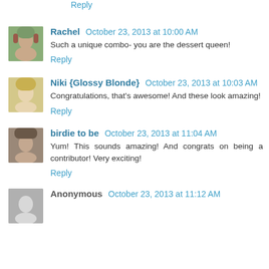Reply
Rachel  October 23, 2013 at 10:00 AM
Such a unique combo- you are the dessert queen!
Reply
Niki {Glossy Blonde}  October 23, 2013 at 10:03 AM
Congratulations, that's awesome! And these look amazing!
Reply
birdie to be  October 23, 2013 at 11:04 AM
Yum! This sounds amazing! And congrats on being a contributor! Very exciting!
Reply
Anonymous  October 23, 2013 at 11:12 AM